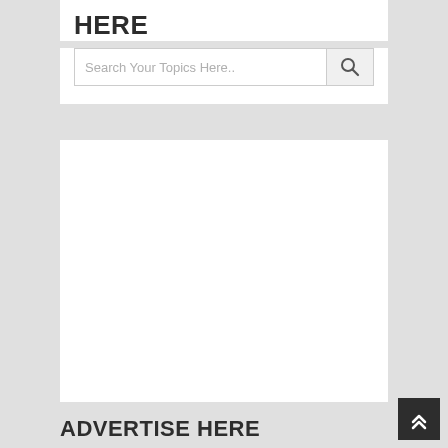HERE
Search Your Topics Here..
[Figure (screenshot): White empty advertisement placeholder box]
ADVERTISE HERE